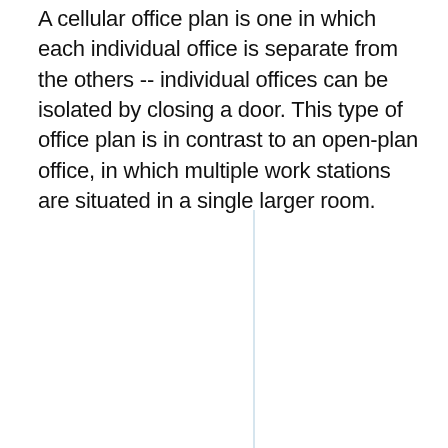A cellular office plan is one in which each individual office is separate from the others -- individual offices can be isolated by closing a door. This type of office plan is in contrast to an open-plan office, in which multiple work stations are situated in a single larger room.
[Figure (other): A vertical light blue/grey dividing line running vertically near the center-right of the lower half of the page, suggesting a page or column separator element.]